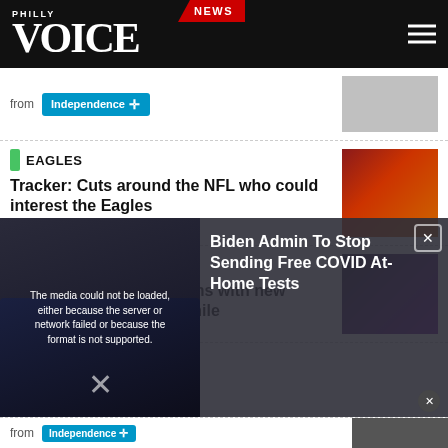Philly Voice - NEWS
from Independence
EAGLES
Tracker: Cuts around the NFL who could interest the Eagles
from IBEW 98
MUSIC
Taylor Swift surprises fans with new album announcement while
[Figure (screenshot): Video player overlay showing error: The media could not be loaded, either because the server or network failed or because the format is not supported. Overlay text: Biden Admin To Stop Sending Free COVID At-Home Tests]
from Independence
…healthi…